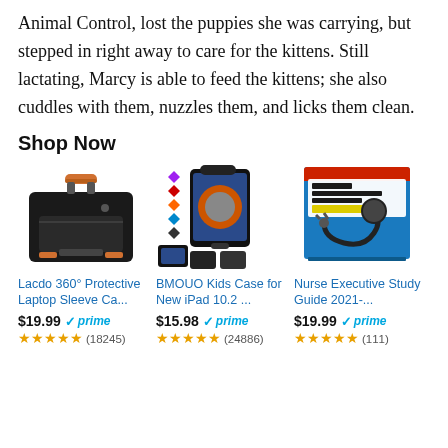Animal Control, lost the puppies she was carrying, but stepped in right away to care for the kittens. Still lactating, Marcy is able to feed the kittens; she also cuddles with them, nuzzles them, and licks them clean.
Shop Now
[Figure (photo): Lacdo black laptop sleeve bag with orange handle and accents]
Lacdo 360° Protective Laptop Sleeve Ca...
$19.99 prime (18245 reviews)
[Figure (photo): BMOUO Kids Case for iPad 10.2 in black with colorful diamond icons]
BMOUO Kids Case for New iPad 10.2 ...
$15.98 prime (24886 reviews)
[Figure (photo): Nurse Executive Study Guide 2021-2022 book cover with stethoscope]
Nurse Executive Study Guide 2021-...
$19.99 prime (111 reviews)